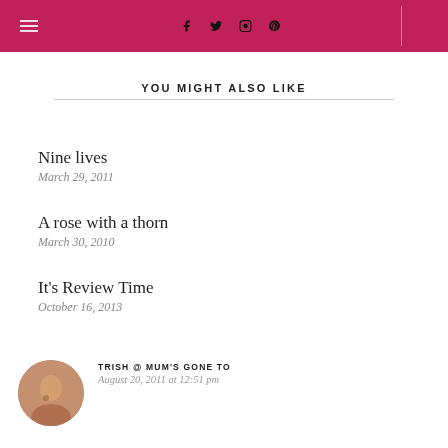Navigation header with hamburger menu, social icons (f, twitter, instagram, pinterest), and search icon
YOU MIGHT ALSO LIKE
Nine lives
March 29, 2011
A rose with a thorn
March 30, 2010
It's Review Time
October 16, 2013
TRISH @ MUM'S GONE TO
August 20, 2011 at 12:51 pm